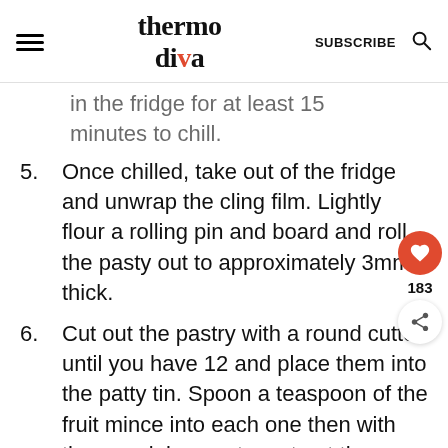thermo diva | SUBSCRIBE
in the fridge for at least 15 minutes to chill.
5. Once chilled, take out of the fridge and unwrap the cling film. Lightly flour a rolling pin and board and roll the pasty out to approximately 3mm thick.
6. Cut out the pastry with a round cutter until you have 12 and place them into the patty tin. Spoon a teaspoon of the fruit mince into each one then with the remaining pastry cut out the shapes for the top.
7. Bake in the oven for 20 minutes